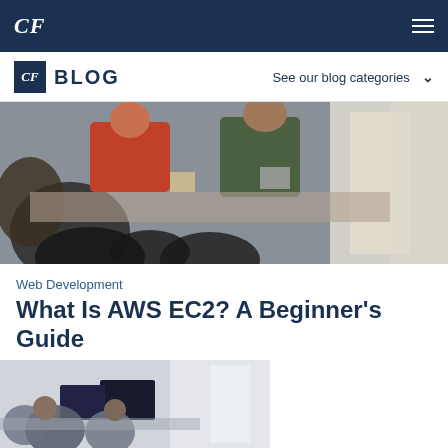CF BLOG
[Figure (photo): People sitting around a work table in an office, collaborating, seen from above/side angle]
Web Development
What Is AWS EC2? A Beginner's Guide
August 29, 2022 · 8 minutes read
[Figure (photo): People working at computers in an office, partial view at bottom of page]